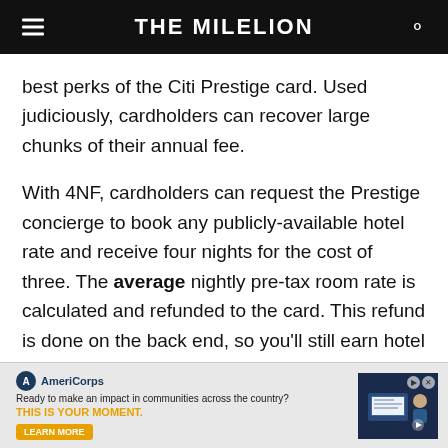THE MILELION
best perks of the Citi Prestige card. Used judiciously, cardholders can recover large chunks of their annual fee.
With 4NF, cardholders can request the Prestige concierge to book any publicly-available hotel rate and receive four nights for the cost of three. The average nightly pre-tax room rate is calculated and refunded to the card. This refund is done on the back end, so you’ll still earn hotel points and elite credit (where applicable) for four night’s worth of spending.
[Figure (screenshot): AmeriCorps advertisement banner: logo, tagline 'Ready to make an impact in communities across the country? THIS IS YOUR MOMENT.' with a Learn More button and a photo of a person at a computer.]